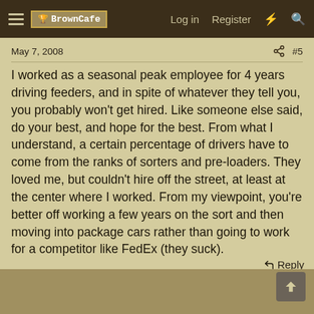BrownCafe — Log in  Register
May 7, 2008   #5
I worked as a seasonal peak employee for 4 years driving feeders, and in spite of whatever they tell you, you probably won't get hired. Like someone else said, do your best, and hope for the best. From what I understand, a certain percentage of drivers have to come from the ranks of sorters and pre-loaders. They loved me, but couldn't hire off the street, at least at the center where I worked. From my viewpoint, you're better off working a few years on the sort and then moving into package cars rather than going to work for a competitor like FedEx (they suck).
Reply